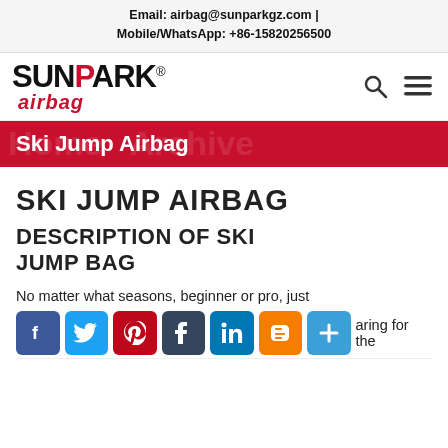Email: airbag@sunparkgz.com | Mobile/WhatsApp: +86-15820256500
[Figure (logo): SunPark Airbag logo with black SUNPARK text (red P) and red italic airbag text, registered trademark symbol]
Ski Jump Airbag
SKI JUMP AIRBAG
DESCRIPTION OF SKI JUMP BAG
No matter what seasons, beginner or pro, just preparing for the